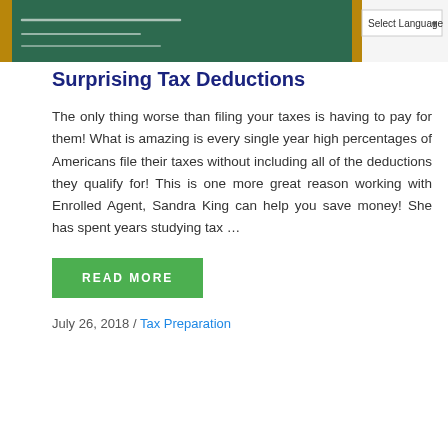[Figure (photo): Chalkboard image with green background and wooden frame. A 'Select Language' dropdown button is overlaid in the upper right corner.]
Surprising Tax Deductions
The only thing worse than filing your taxes is having to pay for them! What is amazing is every single year high percentages of Americans file their taxes without including all of the deductions they qualify for! This is one more great reason working with Enrolled Agent, Sandra King can help you save money! She has spent years studying tax …
READ MORE
July 26, 2018 / Tax Preparation